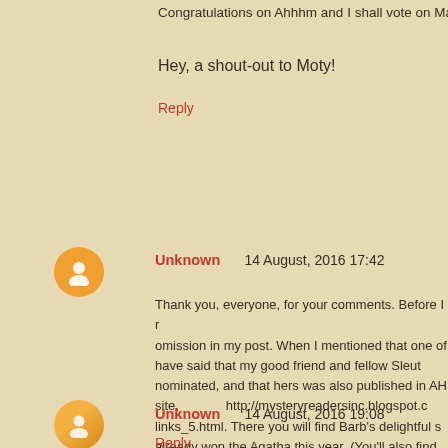Congratulations on Ahhhh and I shall vote on Macu...
Hey, a shout-out to Moty!
Reply
Unknown   14 August, 2016 17:42
Thank you, everyone, for your comments. Before I r... omission in my post. When I mentioned that one of... have said that my good friend and fellow Sleut... nominated, and that hers was also published in AH... site, http://mysteryreadersinc.blogspot.c... links_5.html. There you will find Barb's delightful s... already won the Agatha this year. (You'll also find... weren't published in what discerning people refer to... for not mentioning her story in my post, and to all of
Reply
Unknown   14 August, 2016 19:08